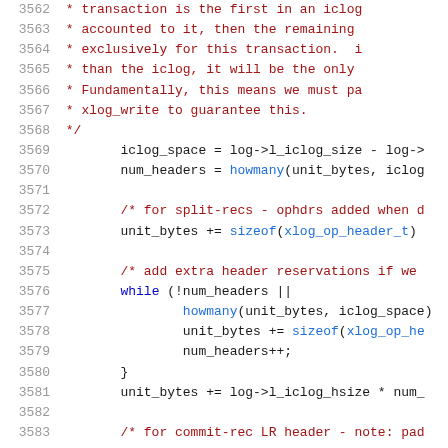[Figure (screenshot): Source code listing showing lines 3562-3583 of a C/kernel source file with syntax highlighting. Red/brown for comments, blue for keywords and function calls, dark for plain code. Line numbers shown in grey on the left.]